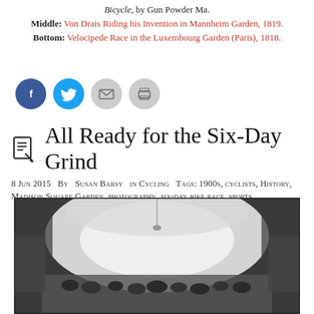Bicycle," by Gun Powder Ma.
Middle: Von Drais Riding his Invention in Mannheim Garden, 1819.
Bottom: Velocipede Race in the Luxembourg Garden (Paris), 1818.
[Figure (other): Social sharing buttons: Facebook, Twitter, Email, Print]
All Ready for the Six-Day Grind
8 Jun 2015  By  Susan Barsy  in Cycling  Tags: 1900s, cyclists, History, Madison Square Garden, photography, six-day bike race, sports
[Figure (photo): Black and white historical photograph of the interior of Madison Square Garden, showing a large crowd gathered inside the arena with a bright skylight overhead, taken around 1900s during a six-day bike race event.]